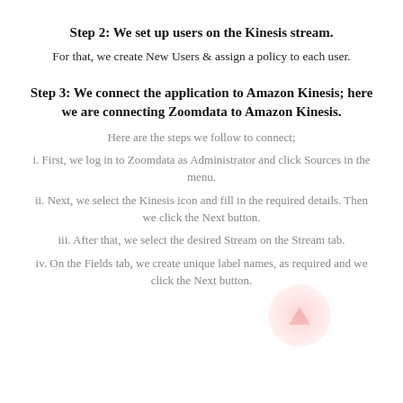Step 2: We set up users on the Kinesis stream.
For that, we create New Users & assign a policy to each user.
Step 3: We connect the application to Amazon Kinesis; here we are connecting Zoomdata to Amazon Kinesis.
Here are the steps we follow to connect;
i. First, we log in to Zoomdata as Administrator and click Sources in the menu.
ii. Next, we select the Kinesis icon and fill in the required details. Then we click the Next button.
iii. After that, we select the desired Stream on the Stream tab.
iv. On the Fields tab, we create unique label names, as required and we click the Next button.